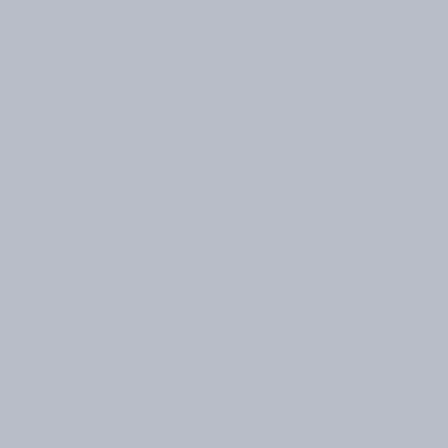He
Co
Spe
Pri
SH
One
ma
Me
Ge
Exi
pris
He
thre
Mi
MU
One